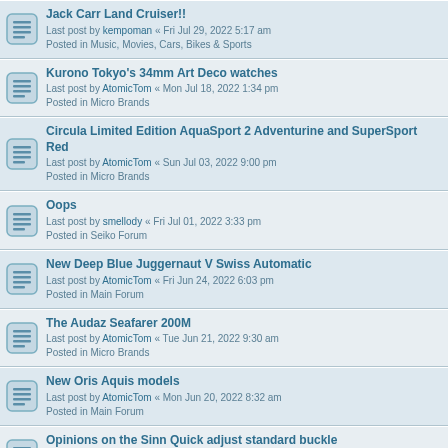Jack Carr Land Cruiser!! | Last post by kempoman « Fri Jul 29, 2022 5:17 am | Posted in Music, Movies, Cars, Bikes & Sports
Kurono Tokyo's 34mm Art Deco watches | Last post by AtomicTom « Mon Jul 18, 2022 1:34 pm | Posted in Micro Brands
Circula Limited Edition AquaSport 2 Adventurine and SuperSport Red | Last post by AtomicTom « Sun Jul 03, 2022 9:00 pm | Posted in Micro Brands
Oops | Last post by smellody « Fri Jul 01, 2022 3:33 pm | Posted in Seiko Forum
New Deep Blue Juggernaut V Swiss Automatic | Last post by AtomicTom « Fri Jun 24, 2022 6:03 pm | Posted in Main Forum
The Audaz Seafarer 200M | Last post by AtomicTom « Tue Jun 21, 2022 9:30 am | Posted in Micro Brands
New Oris Aquis models | Last post by AtomicTom « Mon Jun 20, 2022 8:32 am | Posted in Main Forum
Opinions on the Sinn Quick adjust standard buckle | Last post by giosdad « Thu May 26, 2022 7:32 pm | Posted in Sinn Forum
Does anyone in the USA have a Seiko dealer hook up? | Last post by Mr_Pacman « Sat Apr 30, 2022 4:03 pm | Posted in Main Forum
Oris Catalog | Last post by Wario406 « Fri Apr 29, 2022 10:02 am | Posted in Main Forum